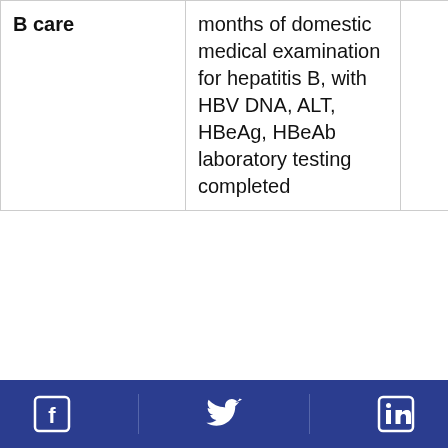| B care | months of domestic medical examination for hepatitis B, with HBV DNA, ALT, HBeAg, HBeAb laboratory testing completed |  | care (C ID spe within month domes medic exami for he B, with DNA, A HBeAg HBeAb labora testing compl |
[Facebook icon] | [Twitter icon] | [LinkedIn icon]